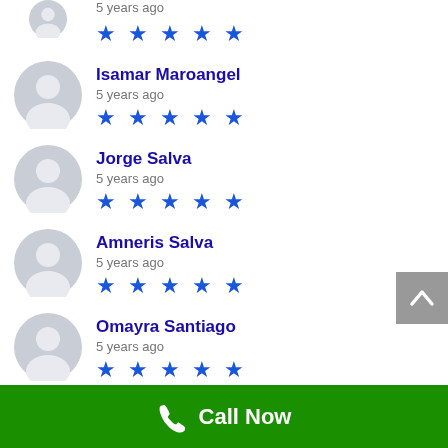5 years ago ★★★★★ (partial top)
Isamar Maroangel, 5 years ago, 5 stars
Jorge Salva, 5 years ago, 5 stars
Amneris Salva, 5 years ago, 5 stars
Omayra Santiago, 5 years ago, 5 stars
Luis F Alicea Rivera, 5 years ago
Call Now